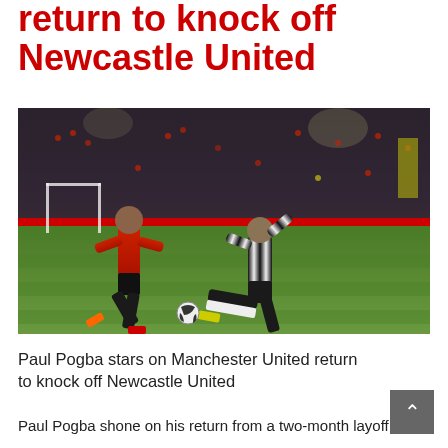return to knock off Newcastle United
[Figure (photo): Paul Pogba in Manchester United red kit challenging a Newcastle United player in black and white stripes during a Premier League match at Old Trafford, with a packed stadium crowd in the background.]
Paul Pogba stars on Manchester United return to knock off Newcastle United
Paul Pogba shone on his return from a two-month layoff